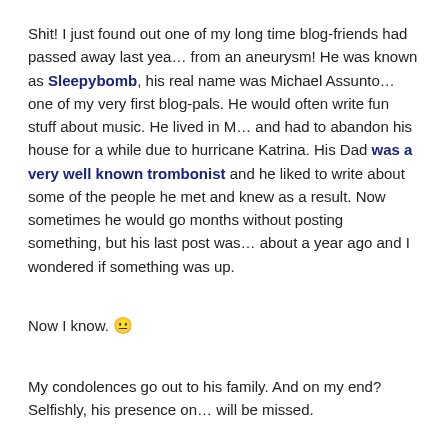Shit! I just found out one of my long time blog-friends had passed away last year from an aneurysm!  He was known as Sleepybomb, his real name was Michael Assunto and was one of my very first blog-pals. He would often write fun stuff about music. He lived in M... and had to abandon his house for a while due to hurricane Katrina. His Dad was a very well known trombonist and he liked to write about some of the people he met and knew as a result. Now sometimes he would go months without posting something, but his last post was about a year ago and I wondered if something was up.
Now I know. 😐
My condolences go out to his family. And on my end?  Selfishly, his presence on the web will be missed.
Here are a couple of vids from Sleepbomb and his band The Metry Wrecks. He may be gone but his music will survive.